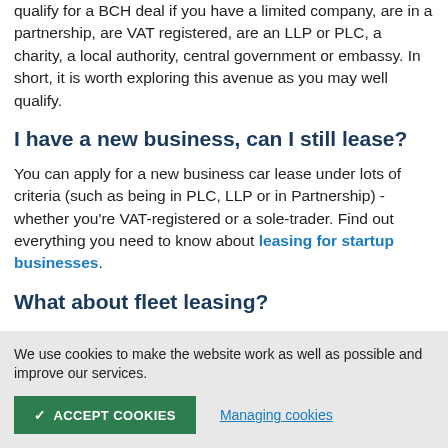qualify for a BCH deal if you have a limited company, are in a partnership, are VAT registered, are an LLP or PLC, a charity, a local authority, central government or embassy. In short, it is worth exploring this avenue as you may well qualify.
I have a new business, can I still lease?
You can apply for a new business car lease under lots of criteria (such as being in PLC, LLP or in Partnership) - whether you're VAT-registered or a sole-trader. Find out everything you need to know about leasing for startup businesses.
What about fleet leasing?
We use cookies to make the website work as well as possible and improve our services.
✓ ACCEPT COOKIES   Managing cookies